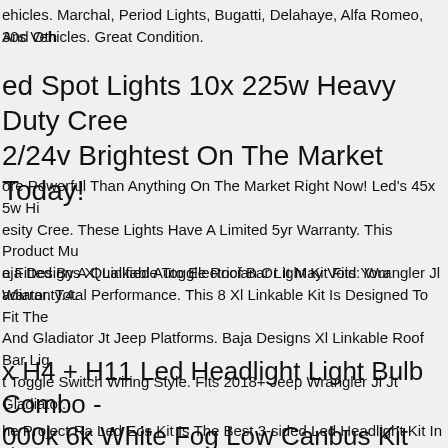ehicles. Marchal, Period Lights, Bugatti, Delahaye, Alfa Romeo, And Oth
30s Vehicles. Great Condition.
ed Spot Lights 10x 225w Heavy Duty Cree 2/24v Brightest On The Market Today!
ore Powerful Than Anything On The Market Right Now! Led's 45x 5w Hi esity Cree. These Lights Have A Limited 5yr Warranty. This Product Mu e Fitted By A Qualified Auto Electrician Or It May Void Your Warranty.4.
aja Designs Xl Linkable Toggle Roof Bar Light Kit Fits: Wrangler Jl adiator. Total Performance. This 8 Xl Linkable Kit Is Designed To Fit The And Gladiator Jt Jeep Platforms. Baja Designs Xl Linkable Roof Bar Lig t Toggle Switch Wiring Style. Fits 2018+ Jeep Wrangler Jl Jt Gladiator.
x H4 + H11 Led Headlight Light Bulb Combo - 000k 6k White Fog Low Canbus Kit
he Project Ra Led Eos Kit Is The Best 3-sided Led Headlight Kit In The